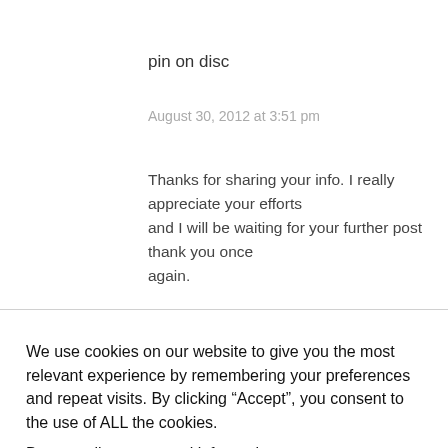pin on disc
August 30, 2012 at 3:51 pm
Thanks for sharing your info. I really appreciate your efforts and I will be waiting for your further post thank you once again.
We use cookies on our website to give you the most relevant experience by remembering your preferences and repeat visits. By clicking “Accept”, you consent to the use of ALL the cookies.
Do not sell my personal information.